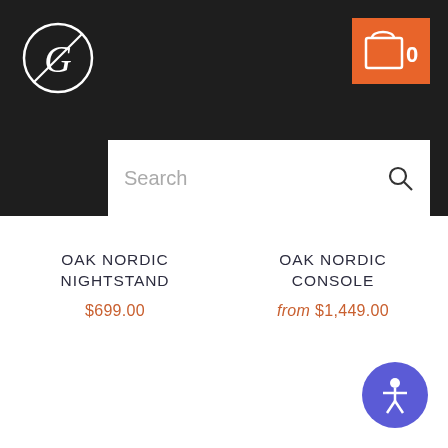Navigation header with logo, cart button, hamburger menu, and search bar
OAK NORDIC NIGHTSTAND
$699.00
OAK NORDIC CONSOLE
from $1,449.00
[Figure (illustration): Accessibility widget button (blue circle with person icon) in bottom-right corner]